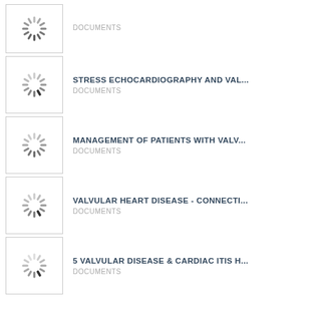[Figure (other): Loading spinner thumbnail (first item, partially visible at top)]
DOCUMENTS
[Figure (other): Loading spinner thumbnail]
STRESS ECHOCARDIOGRAPHY AND VAL...
DOCUMENTS
[Figure (other): Loading spinner thumbnail]
MANAGEMENT OF PATIENTS WITH VALV...
DOCUMENTS
[Figure (other): Loading spinner thumbnail]
VALVULAR HEART DISEASE - CONNECTI...
DOCUMENTS
[Figure (other): Loading spinner thumbnail]
5 VALVULAR DISEASE & CARDIAC ITIS H...
DOCUMENTS